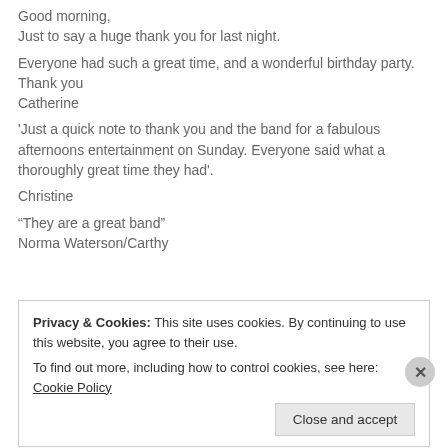Good morning,
Just to say a huge thank you for last night.
Everyone had such a great time, and a wonderful birthday party.
Thank you
Catherine
'Just a quick note to thank you and the band for a fabulous afternoons entertainment on Sunday. Everyone said what a thoroughly great time they had'.
Christine
“They are a great band”
Norma Waterson/Carthy
Privacy & Cookies: This site uses cookies. By continuing to use this website, you agree to their use.
To find out more, including how to control cookies, see here: Cookie Policy
Close and accept